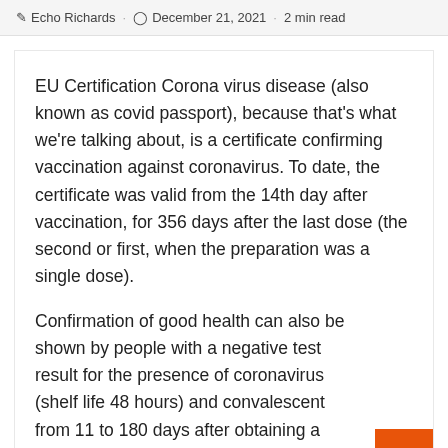Echo Richards · December 21, 2021 · 2 min read
EU Certification Corona virus disease (also known as covid passport), because that's what we're talking about, is a certificate confirming vaccination against coronavirus. To date, the certificate was valid from the 14th day after vaccination, for 356 days after the last dose (the second or first, when the preparation was a single dose).
Confirmation of good health can also be shown by people with a negative test result for the presence of coronavirus (shelf life 48 hours) and convalescent from 11 to 180 days after obtaining a positive PCR result.